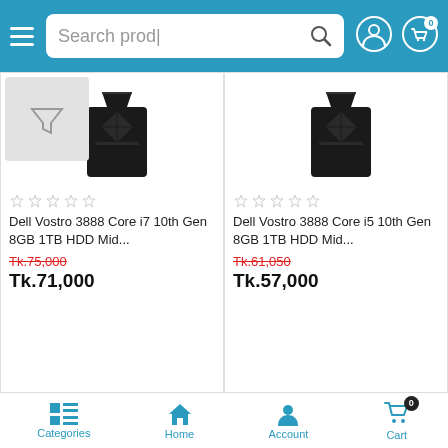[Figure (screenshot): Mobile e-commerce app screenshot showing product listing page with search bar, navigation, and product cards for Dell Vostro desktop computers]
Search prod|
Dell Vostro 3888 Core i7 10th Gen 8GB 1TB HDD Mid...
Tk.75,000
Tk.71,000
Dell Vostro 3888 Core i5 10th Gen 8GB 1TB HDD Mid...
Tk.61,050
Tk.57,000
-5%
-6%
Categories  Home  Account  Cart